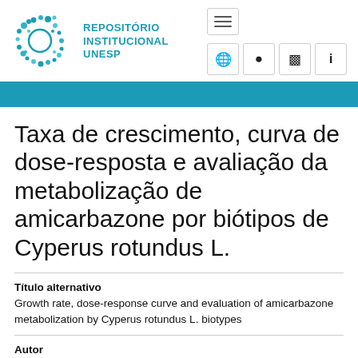[Figure (logo): UNESP Repositório Institucional logo with teal dot-circle graphic and text REPOSITÓRIO INSTITUCIONAL UNESP]
Taxa de crescimento, curva de dose-resposta e avaliação da metabolização de amicarbazone por biótipos de Cyperus rotundus L.
Título alternativo
Growth rate, dose-response curve and evaluation of amicarbazone metabolization by Cyperus rotundus L. biotypes
Autor